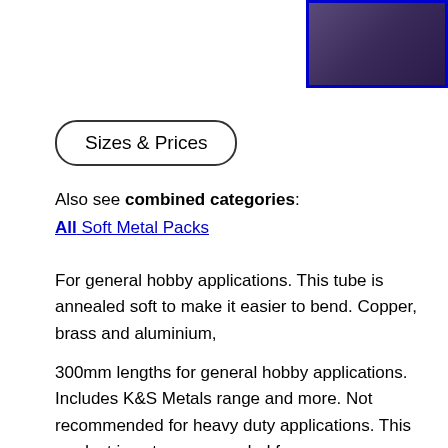[Figure (photo): Close-up photo of a metallic surface with dark purple/blue tones, bordered in blue]
Sizes & Prices
Also see combined categories:
All Soft Metal Packs
For general hobby applications. This tube is annealed soft to make it easier to bend. Copper, brass and aluminium,
300mm lengths for general hobby applications. Includes K&S Metals range and more. Not recommended for heavy duty applications. This product is not recommended for use as a bearing shaft. We suggest you use items from the category - Shafting - Ground for bearing shaft.